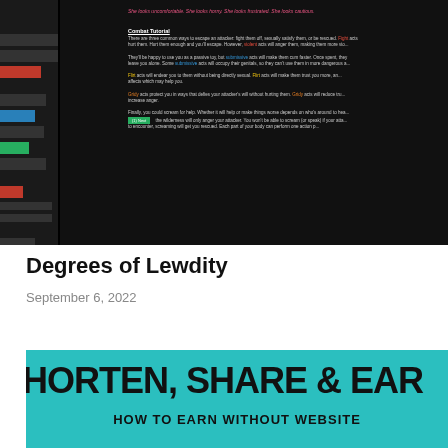[Figure (screenshot): Screenshot of a dark-themed game interface showing text about combat tutorial with colored action types (submissive, flirt, grody) on black background with sidebar navigation]
Degrees of Lewdity
September 6, 2022
[Figure (infographic): Teal/cyan background banner with large bold text 'HORTEN, SHARE & EAR' and subtitle 'HOW TO EARN WITHOUT WEBSITE']